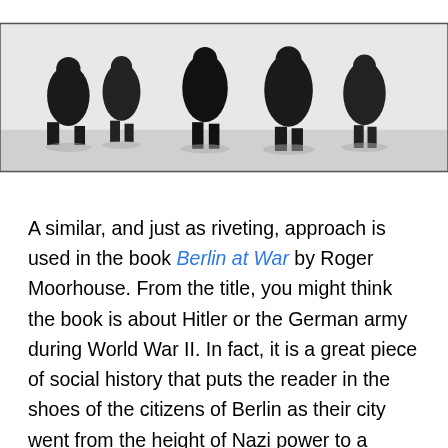[Figure (photo): Black and white photograph showing several people in dark coats standing in a snowy or bright outdoor setting]
A similar, and just as riveting, approach is used in the book Berlin at War by Roger Moorhouse. From the title, you might think the book is about Hitler or the German army during World War II. In fact, it is a great piece of social history that puts the reader in the shoes of the citizens of Berlin as their city went from the height of Nazi power to a barren heap of rubble in under 10 years. The author excels at exploring and describing events that affected the average city dweller. Instead of explaining the blackouts in terms of aerial bombardment strategy, for example, he describes the very real effects of increased traffic accidents, crime and luminescent paint that living in the